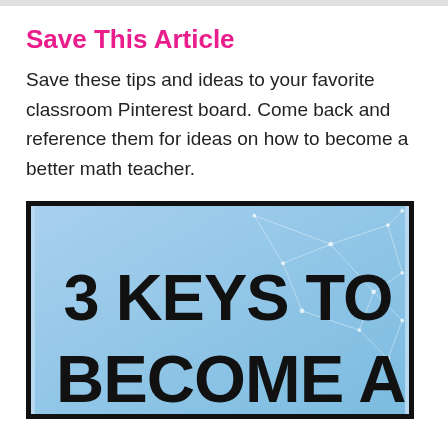Save This Article
Save these tips and ideas to your favorite classroom Pinterest board. Come back and reference them for ideas on how to become a better math teacher.
[Figure (illustration): Promotional image with blue gradient background and geometric network lines, large bold black text reading '3 KEYS TO BECOME A']